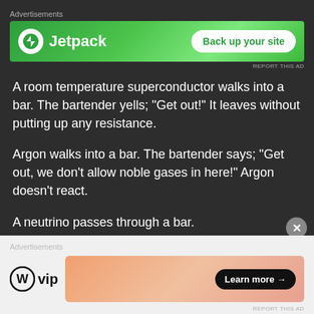[Figure (screenshot): Jetpack advertisement banner — green background with Jetpack logo and 'Back up your site' button]
A room temperature superconductor walks into a bar. The bartender yells; “Get out!” It leaves without putting up any resistance.
Argon walks into a bar. The bartender says; “Get out, we don’t allow noble gases in here!” Argon doesn’t react.
A neutrino passes through a bar.
A planetologist walks into a bar and chats to Vastitas
[Figure (screenshot): WordPress VIP advertisement banner — light background with WordPress VIP logo and 'Learn more' button with gradient image]